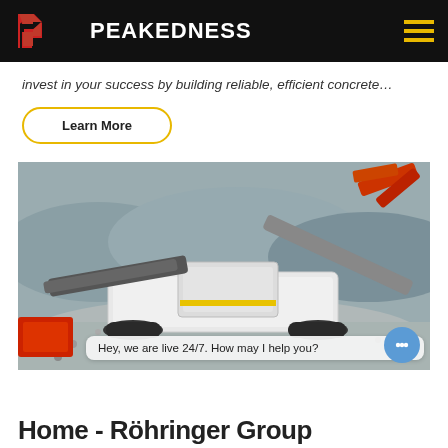PEAKEDNESS
invest in your success by building reliable, efficient concrete…
Learn More
[Figure (photo): A mobile crusher/processing machine (white, heavy machinery on tracks) operating in a quarry/gravel site with rock piles and excavator in the background. Chat bubble overlay reads: Hey, we are live 24/7. How may I help you?]
Home - Röhringer Group